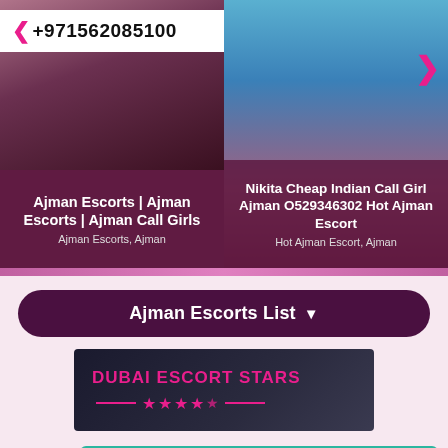[Figure (photo): Left card with female photo and phone number +971562085100 overlay]
Ajman Escorts | Ajman Escorts | Ajman Call Girls
Ajman Escorts, Ajman
[Figure (photo): Right card with female photo by pool]
Nikita Cheap Indian Call Girl Ajman O529346302 Hot Ajman Escort
Hot Ajman Escort, Ajman
Ajman Escorts List
[Figure (logo): Dubai Escort Stars banner with pink stars]
Esco
Click WhatsApp +971569604300